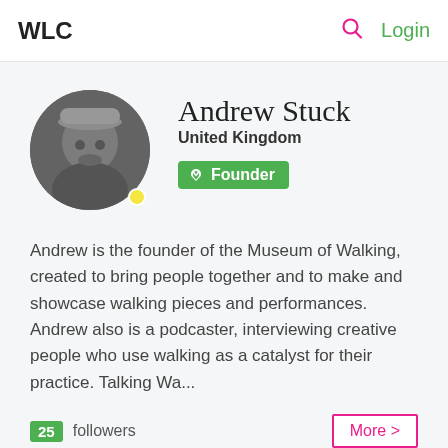WLC   Login
[Figure (photo): Black and white circular profile photo of Andrew Stuck wearing a hat, with a small yellow dot at the bottom right of the circle.]
Andrew Stuck
United Kingdom
Founder
Andrew is the founder of the Museum of Walking, created to bring people together and to make and showcase walking pieces and performances. Andrew also is a podcaster, interviewing creative people who use walking as a catalyst for their practice. Talking Wa...
25 followers
More >